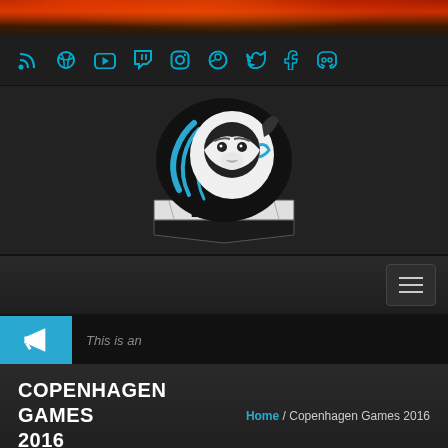[Figure (illustration): Fire/flame decorative banner at the top of the page with red and orange flame effect]
Social media icons bar: RSS, Dribbble, YouTube, Twitch, Instagram, Steam, Twitter, Facebook, Discord
[Figure (logo): BPRO esports logo featuring a lion head in black, white and blue colors with BPRO text in stylized font on a shield/banner]
[Figure (screenshot): Navigation bar with hamburger menu button on dark background]
This is an
COPENHAGEN GAMES 2016
Home / Copenhagen Games 2016
[Figure (photo): Article card preview showing a date badge 'Mar' on blue background and a gaming/esports team jersey image]